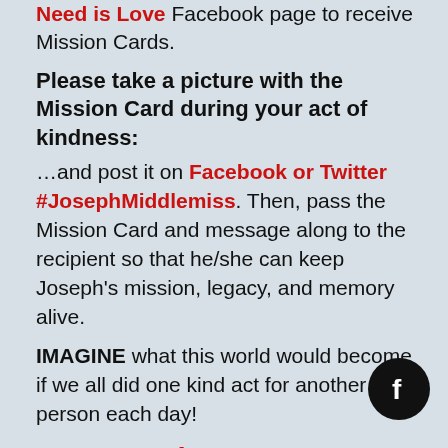Need is Love Facebook page to receive Mission Cards.
Please take a picture with the Mission Card during your act of kindness:
…and post it on Facebook or Twitter #JosephMiddlemiss. Then, pass the Mission Card and message along to the recipient so that he/she can keep Joseph's mission, legacy, and memory alive.
IMAGINE what this world would become if we all did one kind act for another person each day!
Remember…ALL YOU NEED IS LOVE! Please give it to someone today.
[Figure (logo): Facebook logo icon in a dark circle]